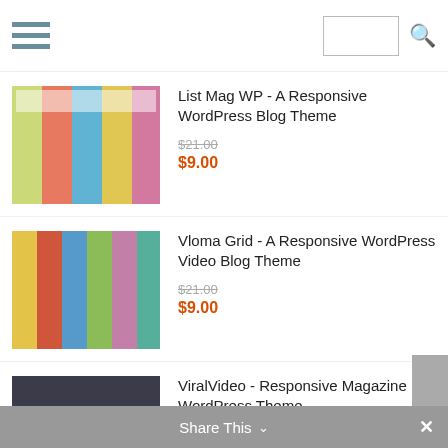Navigation and search bar
List Mag WP - A Responsive WordPress Blog Theme
$21.00
$9.00
Vloma Grid - A Responsive WordPress Video Blog Theme
$21.00
$9.00
ViralVideo - Responsive Magazine WordPress Theme
$21.00
$10.00
Tevily - Travel & Tour Booking WordPress Theme
$21.00
$10.00
Share This ∨   ✕